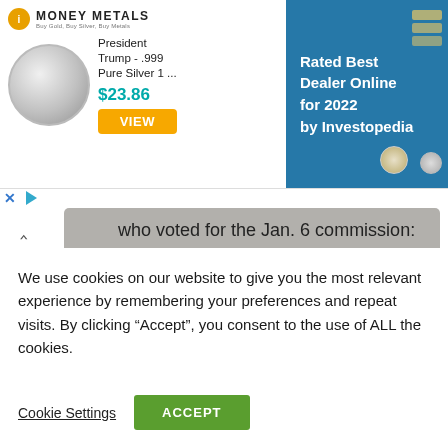[Figure (screenshot): Money Metals advertisement banner showing a President Trump .999 Pure Silver coin priced at $23.86 with a VIEW button, and a blue panel stating Rated Best Dealer Online for 2022 by Investopedia]
who voted for the Jan. 6 commission:
Rice
Newhouse
Bentz
Reed
We use cookies on our website to give you the most relevant experience by remembering your preferences and repeat visits. By clicking “Accept”, you consent to the use of ALL the cookies.
Cookie Settings   ACCEPT